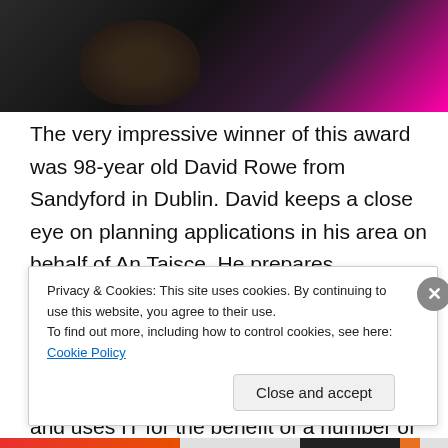[Figure (photo): Dark photograph showing people in front of a pink/purple illuminated background, partially cropped at top of page]
The very impressive winner of this award was 98-year old David Rowe from Sandyford in Dublin. David keeps a close eye on planning applications in his area on behalf of An Taisce. He prepares submissions for policymakers and contributes articles to his local community magazine as well as designing covers. He has edited 8 books since his 'retirement' and uses IT for the benefit of a number of voluntary organizations.  David is a real treasure in his community!
Privacy & Cookies: This site uses cookies. By continuing to use this website, you agree to their use.
To find out more, including how to control cookies, see here: Cookie Policy